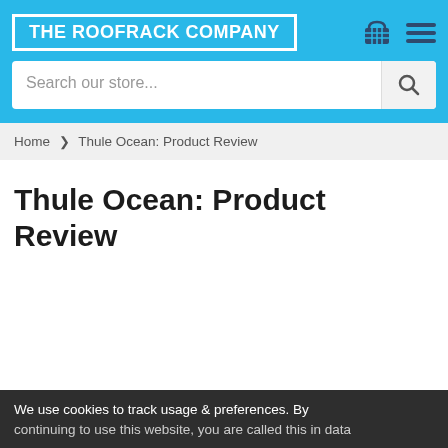THE ROOFRACK COMPANY
Search our store...
Home > Thule Ocean: Product Review
Thule Ocean: Product Review
We use cookies to track usage & preferences. By continuing to use this website, you are called this in data